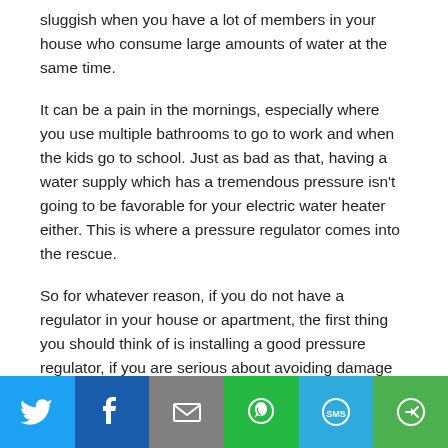sluggish when you have a lot of members in your house who consume large amounts of water at the same time.
It can be a pain in the mornings, especially where you use multiple bathrooms to go to work and when the kids go to school. Just as bad as that, having a water supply which has a tremendous pressure isn't going to be favorable for your electric water heater either. This is where a pressure regulator comes into the rescue.
So for whatever reason, if you do not have a regulator in your house or apartment, the first thing you should think of is installing a good pressure regulator, if you are serious about avoiding damage to both valuable as well as non-valuable plumbing fixtures you have installed in your house. Because it doesn't matter whether the plumbing components monetarily valuable or not. When they get damaged due to whatever reason, it's always a
[Figure (infographic): Social share bar with six buttons: Twitter (blue), Facebook (dark blue), Email (gray), WhatsApp (green), SMS (light blue), More (green)]